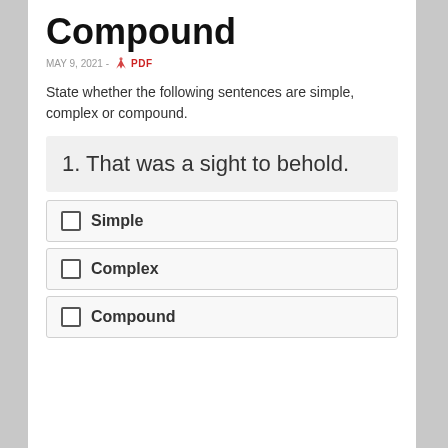Compound
MAY 9, 2021 - PDF
State whether the following sentences are simple, complex or compound.
1. That was a sight to behold.
Simple
Complex
Compound